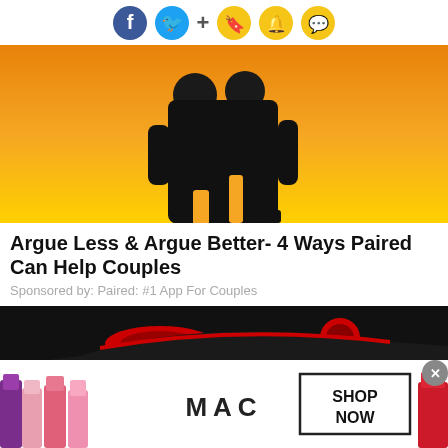Social share icons: Facebook, Twitter, +, Bookmark, Bell, Comment
[Figure (photo): Silhouette of a couple kissing against an orange/yellow sunset sky]
Argue Less & Argue Better- 4 Ways Paired Can Help Couples
Sponsored by: Paired: #1 App For Couples
[Figure (photo): Dark background with red and black racing car detail]
[Figure (photo): MAC cosmetics advertisement showing lipsticks and SHOP NOW button]